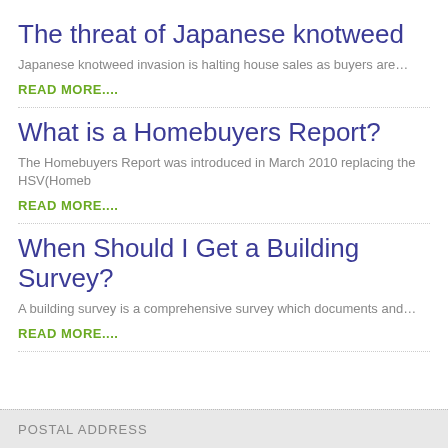The threat of Japanese knotweed
Japanese knotweed invasion is halting house sales as buyers are…
READ MORE....
What is a Homebuyers Report?
The Homebuyers Report was introduced in March 2010 replacing the HSV(Homeb
READ MORE....
When Should I Get a Building Survey?
A building survey is a comprehensive survey which documents and…
READ MORE....
POSTAL ADDRESS